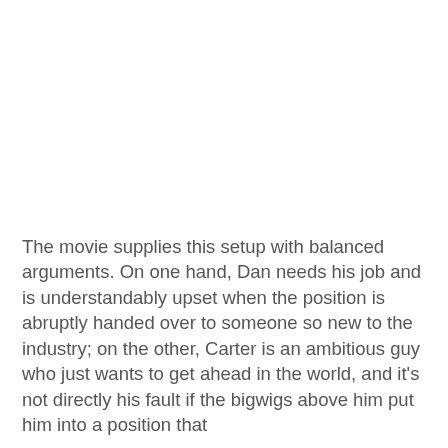The movie supplies this setup with balanced arguments. On one hand, Dan needs his job and is understandably upset when the position is abruptly handed over to someone so new to the industry; on the other, Carter is an ambitious guy who just wants to get ahead in the world, and it's not directly his fault if the bigwigs above him put him into a position that